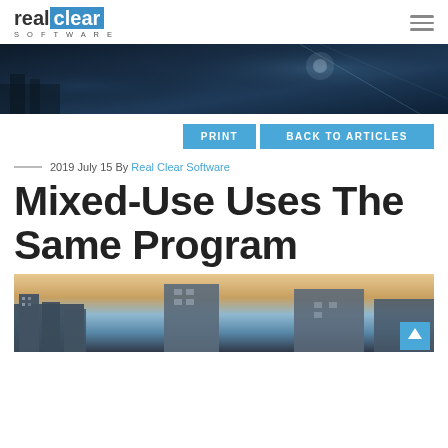real clear SOFTWARE
[Figure (photo): Dark aerial city technology hero banner]
PRINT   BACK TO ARTICLES
2019 July 15 By Real Clear Software
Mixed-Use Uses The Same Program
[Figure (photo): Mixed-use development buildings at dusk with city skyline]